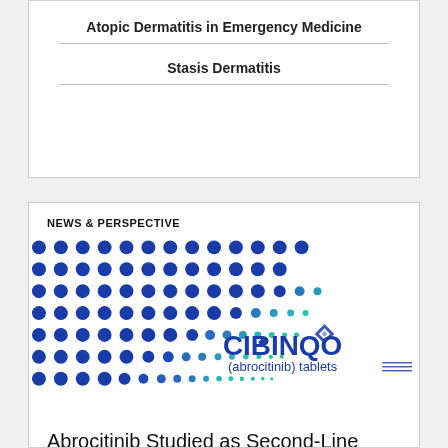Atopic Dermatitis in Emergency Medicine
Stasis Dermatitis
NEWS & PERSPECTIVE
[Figure (photo): CIBINQO (abrocitinib) tablets advertisement image with blue and teal dot pattern on white background]
Abrocitinib Studied as Second-Line